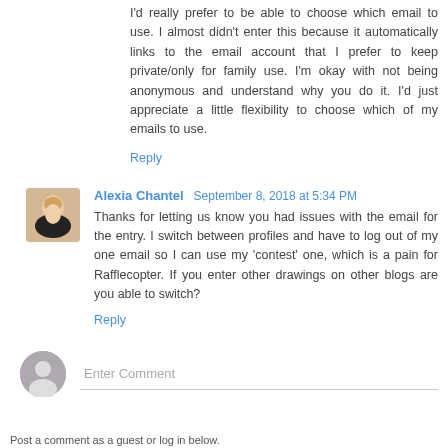I'd really prefer to be able to choose which email to use. I almost didn't enter this because it automatically links to the email account that I prefer to keep private/only for family use. I'm okay with not being anonymous and understand why you do it. I'd just appreciate a little flexibility to choose which of my emails to use.
Reply
Alexia Chantel  September 8, 2018 at 5:34 PM
Thanks for letting us know you had issues with the email for the entry. I switch between profiles and have to log out of my one email so I can use my 'contest' one, which is a pain for Rafflecopter. If you enter other drawings on other blogs are you able to switch?
Reply
Enter Comment
Post a comment as a guest or log in below.